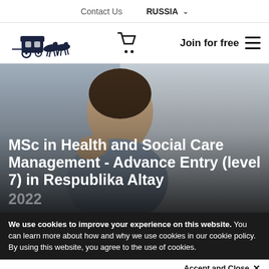Contact Us   RUSSIA ˅
[Figure (logo): Horse-drawn carriage logo (dark navy illustration)]
[Figure (illustration): Shopping cart icon]
Join for free  ≡
[Figure (photo): Woman looking upward thoughtfully, professional attire, background out of focus]
MSc in Health and Social Care Management - Advance Entry (level 7) in Respublika Altay
2022
We use cookies to improve your experience on this website. You can learn more about how and why we use cookies in our cookie policy. By using this website, you agree to the use of cookies.
Accept and Close ×
Your browser settings do not allow cross-site tracking for advertising. Click on this page to allow AdRoll to use cross-site tracking to tailor ads to you. Learn more or opt out of this AdRoll tracking by clicking here. This message only appears once.